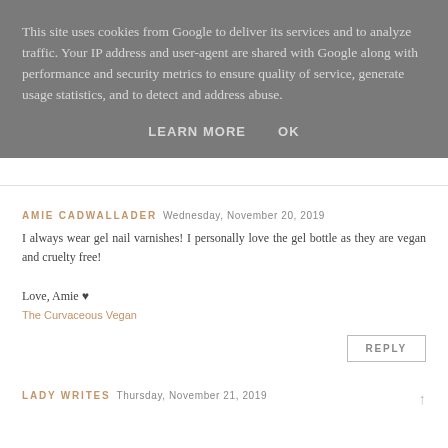This site uses cookies from Google to deliver its services and to analyze traffic. Your IP address and user-agent are shared with Google along with performance and security metrics to ensure quality of service, generate usage statistics, and to detect and address abuse.
LEARN MORE   OK
AMIE CADWALLADER  Wednesday, November 20, 2019
I always wear gel nail varnishes! I personally love the gel bottle as they are vegan and cruelty free!

Love, Amie ♥
The Curvaceous Vegan
REPLY
LADY WRITES  Thursday, November 21, 2019